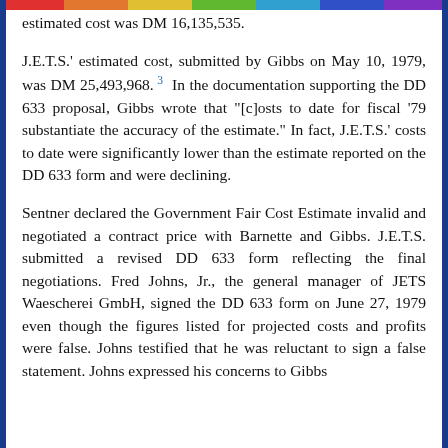estimated cost was DM 16,135,535.
J.E.T.S.' estimated cost, submitted by Gibbs on May 10, 1979, was DM 25,493,968. 3  In the documentation supporting the DD 633 proposal, Gibbs wrote that "[c]osts to date for fiscal '79 substantiate the accuracy of the estimate." In fact, J.E.T.S.' costs to date were significantly lower than the estimate reported on the DD 633 form and were declining.
Sentner declared the Government Fair Cost Estimate invalid and negotiated a contract price with Barnette and Gibbs. J.E.T.S. submitted a revised DD 633 form reflecting the final negotiations. Fred Johns, Jr., the general manager of JETS Waescherei GmbH, signed the DD 633 form on June 27, 1979 even though the figures listed for projected costs and profits were false. Johns testified that he was reluctant to sign a false statement. Johns expressed his concerns to Gibbs